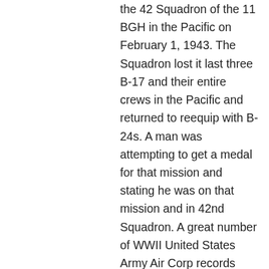the 42 Squadron of the 11 BGH in the Pacific on February 1, 1943. The Squadron lost it last three B-17 and their entire crews in the Pacific and returned to reequip with B-24s. A man was attempting to get a medal for that mission and stating he was on that mission and in 42nd Squadron. A great number of WWII United States Army Air Corp records were lost in a fire in 1976. This man made have been counting on this covering up for his claims. However I am in personal contact with the immediate families of a number of the men who were lost on that mission and the Director of the 11 TH BGH who also lost a brother on that same mission. NONE OF THEM HAVE ANY RECORD OF ANYONE RETURNING FROM THAT MISSION, everyone